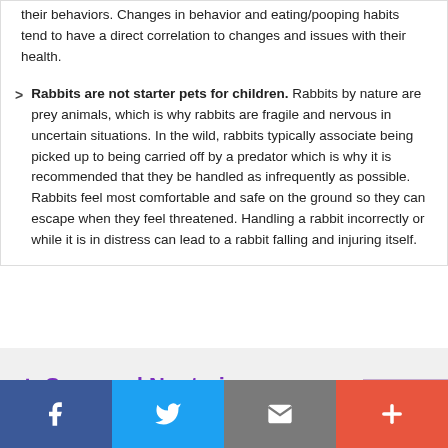their behaviors. Changes in behavior and eating/pooping habits tend to have a direct correlation to changes and issues with their health.
Rabbits are not starter pets for children. Rabbits by nature are prey animals, which is why rabbits are fragile and nervous in uncertain situations. In the wild, rabbits typically associate being picked up to being carried off by a predator which is why it is recommended that they be handled as infrequently as possible. Rabbits feel most comfortable and safe on the ground so they can escape when they feel threatened. Handling a rabbit incorrectly or while it is in distress can lead to a rabbit falling and injuring itself.
+ Spay and Neutering